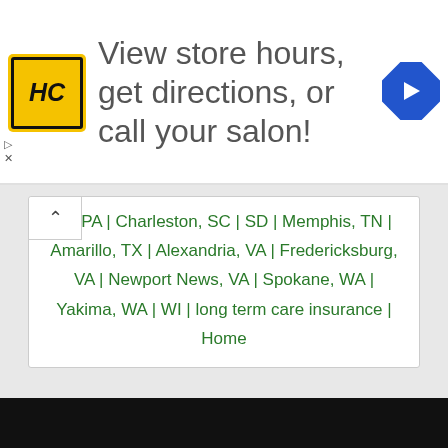[Figure (logo): HairClub (HC) yellow logo with arrow directions icon - advertisement banner: View store hours, get directions, or call your salon!]
K | PA | Charleston, SC | SD | Memphis, TN | Amarillo, TX | Alexandria, VA | Fredericksburg, VA | Newport News, VA | Spokane, WA | Yakima, WA | WI | long term care insurance | Home
« 1 2 … 29 30 31 32 33 … 36 37 »